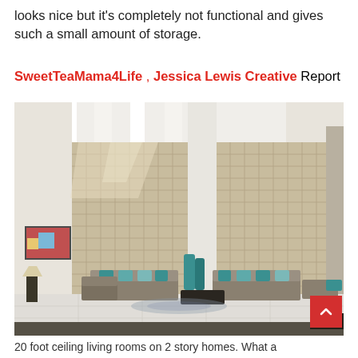looks nice but it's completely not functional and gives such a small amount of storage.
SweetTeaMama4Life , Jessica Lewis Creative Report
[Figure (photo): Interior of a modern living room with very tall stone-clad walls reaching up to skylights, grey sofas with teal cushions, a wall-mounted painting on the left, and a decorative teal sculpture in the center on a dark coffee table. White tile flooring with a patterned rug.]
20 foot ceiling living rooms on 2 story homes. What a